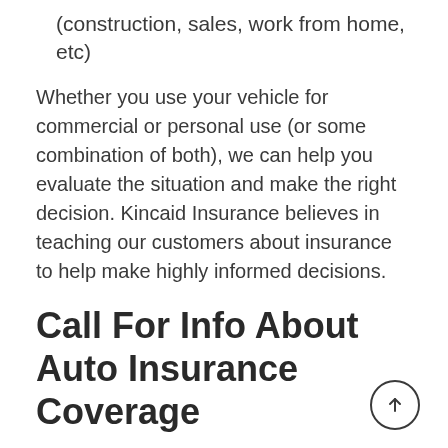(construction, sales, work from home, etc)
Whether you use your vehicle for commercial or personal use (or some combination of both), we can help you evaluate the situation and make the right decision. Kincaid Insurance believes in teaching our customers about insurance to help make highly informed decisions.
Call For Info About Auto Insurance Coverage
Ready to talk to a live agent about your specific situation? Looking to save some money on your current private passenger or commercial policy? Simply dial 877-888-5506 and we will